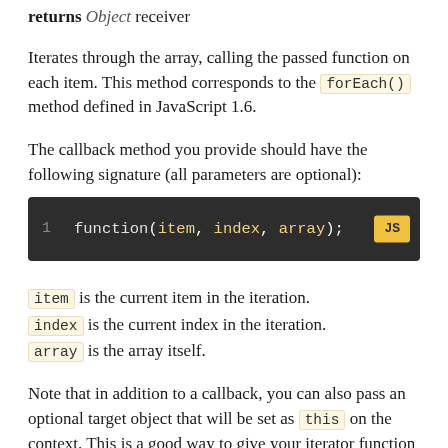returns Object receiver
Iterates through the array, calling the passed function on each item. This method corresponds to the forEach() method defined in JavaScript 1.6.
The callback method you provide should have the following signature (all parameters are optional):
1   function(item, index, array);   JS
item is the current item in the iteration.
index is the current index in the iteration.
array is the array itself.
Note that in addition to a callback, you can also pass an optional target object that will be set as this on the context. This is a good way to give your iterator function access to the current object.